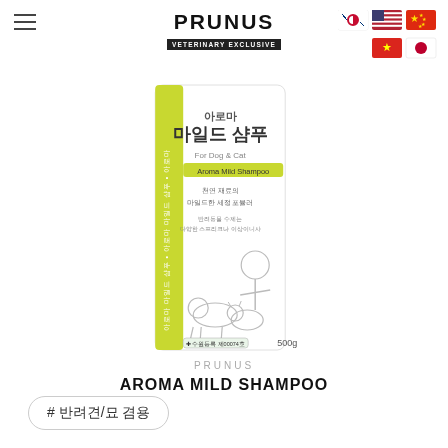[Figure (logo): PRUNUS VETERINARY EXCLUSIVE logo with hamburger menu and country flag icons (Korea, USA, China, Vietnam, Japan)]
[Figure (photo): PRUNUS Aroma Mild Shampoo product bottle (500ml) with yellow-green accent strip, Korean text, illustration of veterinarian with dog and cat]
PRUNUS
AROMA MILD SHAMPOO
# 반려견/묘 겸용